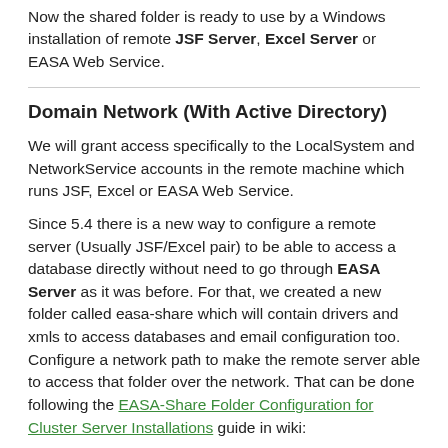Now the shared folder is ready to use by a Windows installation of remote JSF Server, Excel Server or EASA Web Service.
Domain Network (With Active Directory)
We will grant access specifically to the LocalSystem and NetworkService accounts in the remote machine which runs JSF, Excel or EASA Web Service.
Since 5.4 there is a new way to configure a remote server (Usually JSF/Excel pair) to be able to access a database directly without need to go through EASA Server as it was before. For that, we created a new folder called easa-share which will contain drivers and xmls to access databases and email configuration too. Configure a network path to make the remote server able to access that folder over the network. That can be done following the EASA-Share Folder Configuration for Cluster Server Installations guide in wiki: